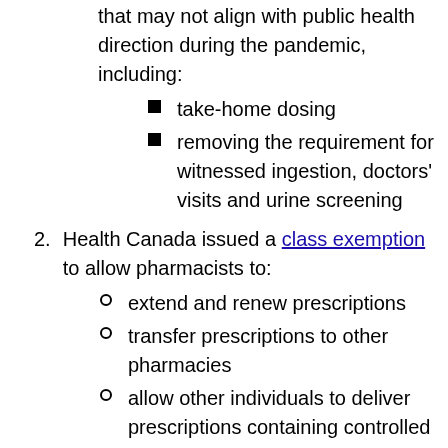that may not align with public health direction during the pandemic, including:
take-home dosing
removing the requirement for witnessed ingestion, doctors' visits and urine screening
Health Canada issued a class exemption to allow pharmacists to:
extend and renew prescriptions
transfer prescriptions to other pharmacies
allow other individuals to deliver prescriptions containing controlled